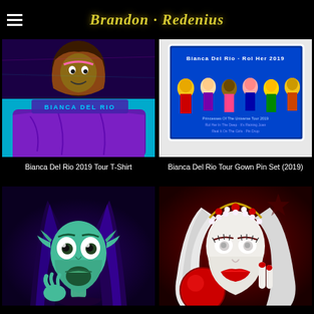Brandon Redenius
[Figure (illustration): Bianca Del Rio 2019 Tour T-Shirt purple merchandise product photo with illustrated character and cyan background, text 'BIANCA DEL RIO' at bottom]
Bianca Del Rio 2019 Tour T-Shirt
[Figure (photo): Bianca Del Rio Tour Gown Pin Set (2019) dark blue product card with illustrated characters and tour dates listed]
Bianca Del Rio Tour Gown Pin Set (2019)
[Figure (illustration): Digital illustration of a teal-skinned elf-like drag character with long dark hair and pointy ears on dark purple background]
[Figure (illustration): Digital illustration of a pale drag character with white/silver hair, red lips, gold crown headpiece, and red gloves on dark red background]